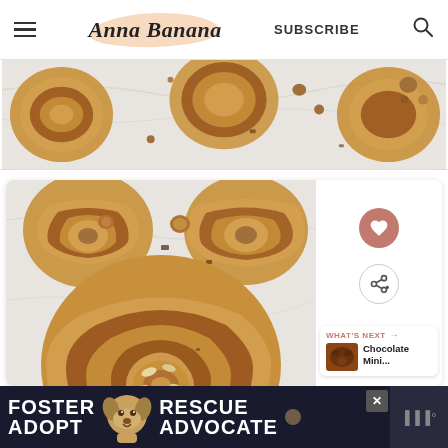Anna Banana — SUBSCRIBE
[Figure (photo): Partial top-down view of cinnamon rolls with hazelnuts on a white marble surface, cropped banner style]
[Figure (photo): Top-down view of Nutella/chocolate cinnamon rolls (snail rolls) with sliced almonds on white marble surface, inside a white card]
WHAT'S NEXT → Chocolate Mini...
[Figure (photo): Small thumbnail of chocolate mini bites]
[Figure (photo): Advertisement banner: FOSTER ADOPT / RESCUE ADVOCATE with image of a dog]